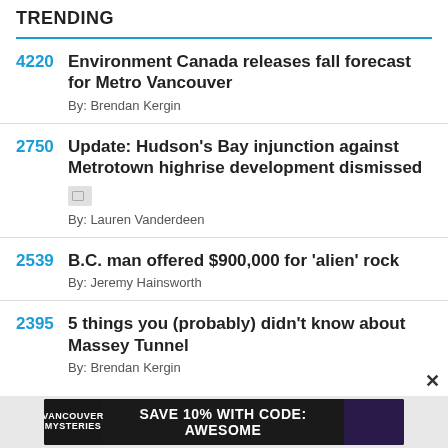TRENDING
4220  Environment Canada releases fall forecast for Metro Vancouver
By: Brendan Kergin
2750  Update: Hudson's Bay injunction against Metrotown highrise development dismissed
By: Lauren Vanderdeen
2539  B.C. man offered $900,000 for 'alien' rock
By: Jeremy Hainsworth
2395  5 things you (probably) didn't know about Massey Tunnel
By: Brendan Kergin
[Figure (photo): Advertisement banner: Vancouver Mysteries - Save 10% with code: AWESOME]